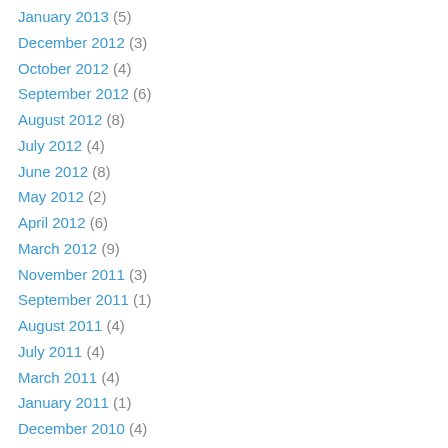January 2013 (5)
December 2012 (3)
October 2012 (4)
September 2012 (6)
August 2012 (8)
July 2012 (4)
June 2012 (8)
May 2012 (2)
April 2012 (6)
March 2012 (9)
November 2011 (3)
September 2011 (1)
August 2011 (4)
July 2011 (4)
March 2011 (4)
January 2011 (1)
December 2010 (4)
November 2010 (5)
October 2010 (3)
September 2010 (3)